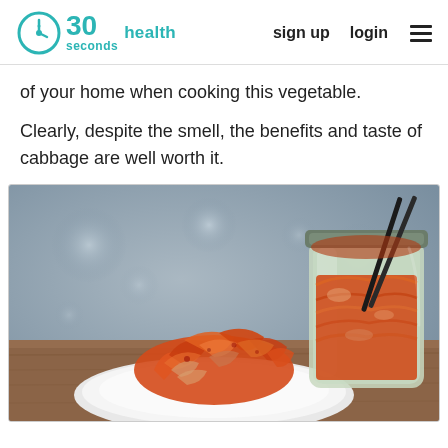30 seconds health | sign up | login
of your home when cooking this vegetable.
Clearly, despite the smell, the benefits and taste of cabbage are well worth it.
[Figure (photo): A white plate with kimchi (fermented cabbage in red pepper sauce) in the foreground, and a glass jar filled with kimchi and chopsticks in the background, on a wooden table with a blurred grey bokeh background.]